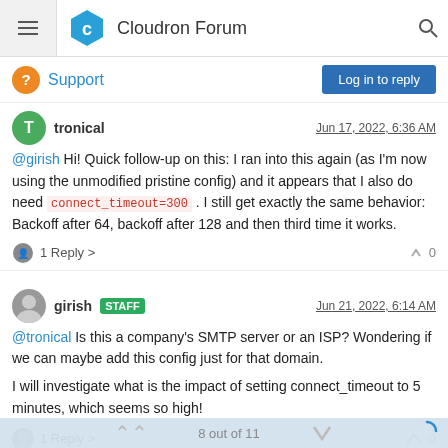Cloudron Forum
Support
tronical — Jun 17, 2022, 6:36 AM
@girish Hi! Quick follow-up on this: I ran into this again (as I'm now using the unmodified pristine config) and it appears that I also do need connect_timeout=300 . I still get exactly the same behavior: Backoff after 64, backoff after 128 and then third time it works.
1 Reply > 0
girish STAFF — Jun 21, 2022, 6:14 AM
@tronical Is this a company's SMTP server or an ISP? Wondering if we can maybe add this config just for that domain.
I will investigate what is the impact of setting connect_timeout to 5 minutes, which seems so high!
1 Reply >  0
8 out of 11